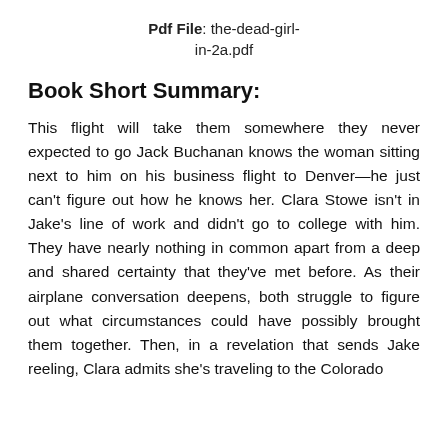Pdf File: the-dead-girl-in-2a.pdf
Book Short Summary:
This flight will take them somewhere they never expected to go Jack Buchanan knows the woman sitting next to him on his business flight to Denver—he just can't figure out how he knows her. Clara Stowe isn't in Jake's line of work and didn't go to college with him. They have nearly nothing in common apart from a deep and shared certainty that they've met before. As their airplane conversation deepens, both struggle to figure out what circumstances could have possibly brought them together. Then, in a revelation that sends Jake reeling, Clara admits she's traveling to the Colorado